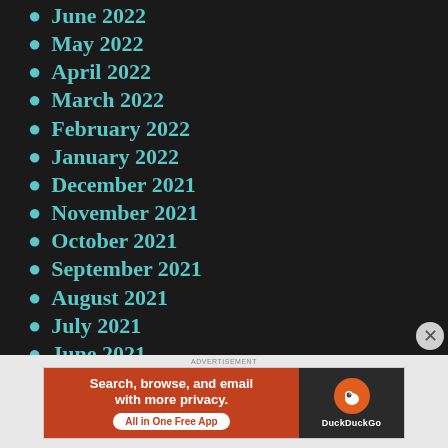June 2022
May 2022
April 2022
March 2022
February 2022
January 2022
December 2021
November 2021
October 2021
September 2021
August 2021
July 2021
June 2021
May 2021
[Figure (screenshot): DuckDuckGo advertisement banner: 'Search, browse, and email with more privacy. All in One Free App' on orange background with DuckDuckGo logo on dark background]